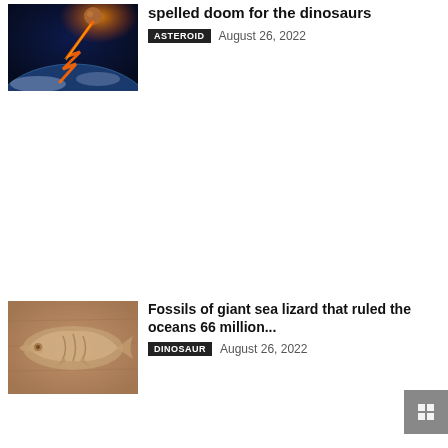[Figure (photo): Asteroid approaching Earth from space with fiery trail]
spelled doom for the dinosaurs
ASTEROID   August 26, 2022
[Figure (photo): Fossil of a giant sea lizard embedded in rock]
Fossils of giant sea lizard that ruled the oceans 66 million...
DINOSAUR   August 26, 2022